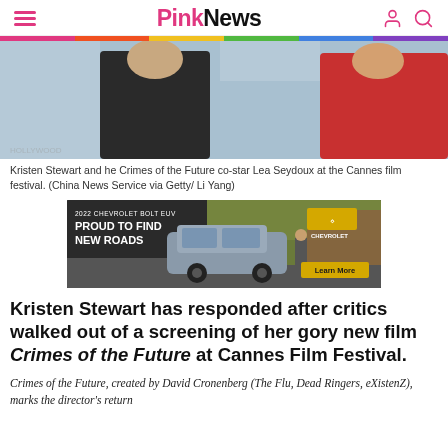PinkNews
[Figure (photo): Kristen Stewart and Lea Seydoux at the Cannes film festival, two people standing together, one in a red checked outfit]
Kristen Stewart and he Crimes of the Future co-star Lea Seydoux at the Cannes film festival. (China News Service via Getty/ Li Yang)
[Figure (photo): 2022 Chevrolet Bolt EUV advertisement. Text: PROUD TO FIND NEW ROADS. CHEVROLET. Learn More button.]
Kristen Stewart has responded after critics walked out of a screening of her gory new film Crimes of the Future at Cannes Film Festival.
Crimes of the Future, created by David Cronenberg (The Flu, Dead Ringers, eXistenZ), marks the director's return